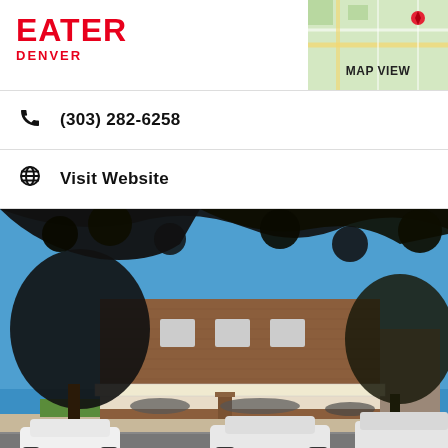EATER DENVER
MAP VIEW
(303) 282-6258
Visit Website
[Figure (photo): Exterior photo of a brick restaurant building on a sunny day, with large trees in the foreground, outdoor seating with patrons, and white cars parked along the street.]